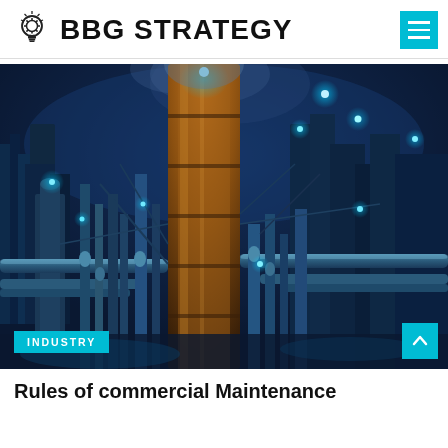BBG STRATEGY
[Figure (photo): Night photo of an industrial chemical plant or oil refinery with large pipes, towers, and blue lighting. An 'INDUSTRY' badge overlays the bottom-left corner.]
Rules of commercial Maintenance